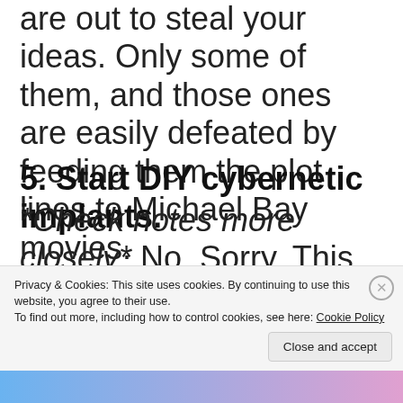are out to steal your ideas. Only some of them, and those ones are easily defeated by feeding them the plot lines to Michael Bay movies.
5. Start DIY cybernetic implants.
*Check notes more closely* No. Sorry. This is my to-do list. Anyone know where I can buy robot parts?
Privacy & Cookies: This site uses cookies. By continuing to use this website, you agree to their use.
To find out more, including how to control cookies, see here: Cookie Policy
Close and accept